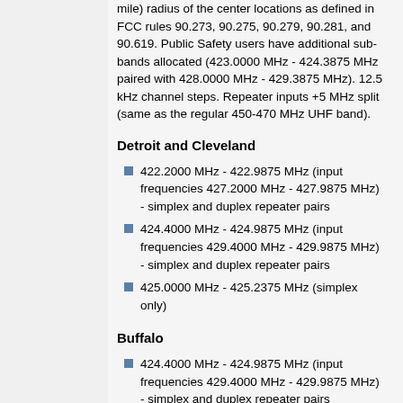mile) radius of the center locations as defined in FCC rules 90.273, 90.275, 90.279, 90.281, and 90.619. Public Safety users have additional sub-bands allocated (423.0000 MHz - 424.3875 MHz paired with 428.0000 MHz - 429.3875 MHz). 12.5 kHz channel steps. Repeater inputs +5 MHz split (same as the regular 450-470 MHz UHF band).
Detroit and Cleveland
422.2000 MHz - 422.9875 MHz (input frequencies 427.2000 MHz - 427.9875 MHz) - simplex and duplex repeater pairs
424.4000 MHz - 424.9875 MHz (input frequencies 429.4000 MHz - 429.9875 MHz) - simplex and duplex repeater pairs
425.0000 MHz - 425.2375 MHz (simplex only)
Buffalo
424.4000 MHz - 424.9875 MHz (input frequencies 429.4000 MHz - 429.9875 MHz) - simplex and duplex repeater pairs